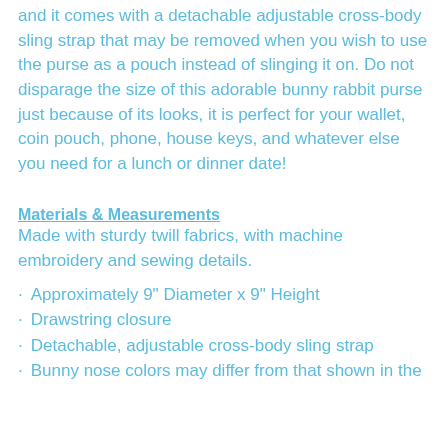and it comes with a detachable adjustable cross-body sling strap that may be removed when you wish to use the purse as a pouch instead of slinging it on. Do not disparage the size of this adorable bunny rabbit purse just because of its looks, it is perfect for your wallet, coin pouch, phone, house keys, and whatever else you need for a lunch or dinner date!
Materials & Measurements
Made with sturdy twill fabrics, with machine embroidery and sewing details.
Approximately 9" Diameter x 9" Height
Drawstring closure
Detachable, adjustable cross-body sling strap
Bunny nose colors may differ from that shown in the